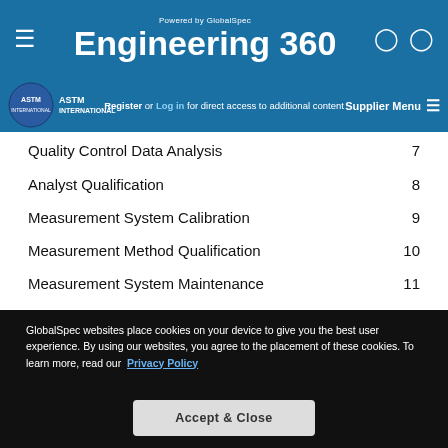Powered by GlobalSpec — Engineering 360
Register or Log in for direct access to additional content  Supplier Menu
Quality Control Data Analysis  7
Analyst Qualification  8
Measurement System Calibration  9
Measurement Method Qualification  10
Measurement System Maintenance  11
Document History
GlobalSpec websites place cookies on your device to give you the best user experience. By using our websites, you agree to the placement of these cookies. To learn more, read our Privacy Policy
Accept & Close